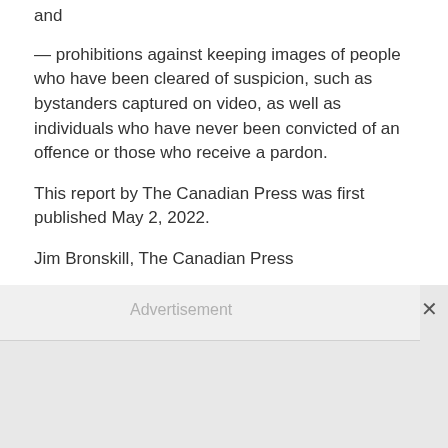and
— prohibitions against keeping images of people who have been cleared of suspicion, such as bystanders captured on video, as well as individuals who have never been convicted of an offence or those who receive a pardon.
This report by The Canadian Press was first published May 2, 2022.
Jim Bronskill, The Canadian Press
[Figure (other): Advertisement placeholder box with grey background and close button (×)]